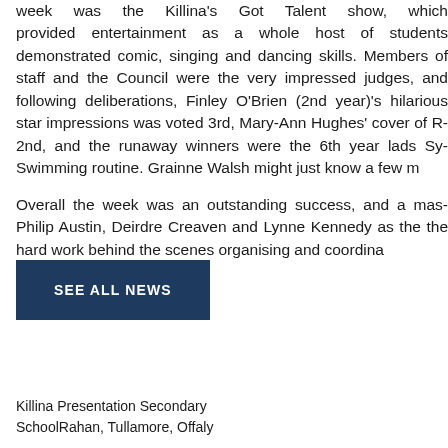week was the Killina's Got Talent show, which provided entertainment as a whole host of students demonstrated comic, singing and dancing skills. Members of staff and the Council were the very impressed judges, and following deliberations, Finley O'Brien (2nd year)'s hilarious star impressions was voted 3rd, Mary-Ann Hughes' cover of R 2nd, and the runaway winners were the 6th year lads Sy Swimming routine. Grainne Walsh might just know a few moves!

Overall the week was an outstanding success, and a massive thank you to Philip Austin, Deirdre Creaven and Lynne Kennedy as the team who put the hard work behind the scenes organising and coordinating.
SEE ALL NEWS
Killina Presentation Secondary SchoolRahan, Tullamore, Offaly